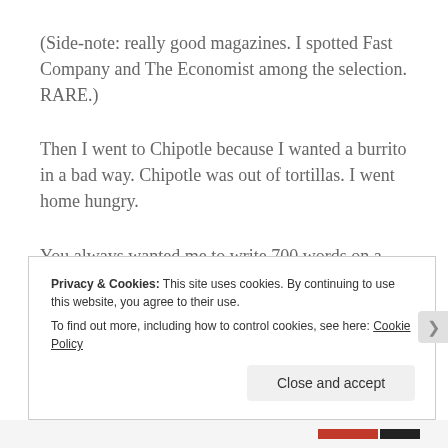(Side-note: really good magazines. I spotted Fast Company and The Economist among the selection. RARE.)
Then I went to Chipotle because I wanted a burrito in a bad way. Chipotle was out of tortillas. I went home hungry.
You always wanted me to write 700 words on a pedicure, right?
Privacy & Cookies: This site uses cookies. By continuing to use this website, you agree to their use. To find out more, including how to control cookies, see here: Cookie Policy